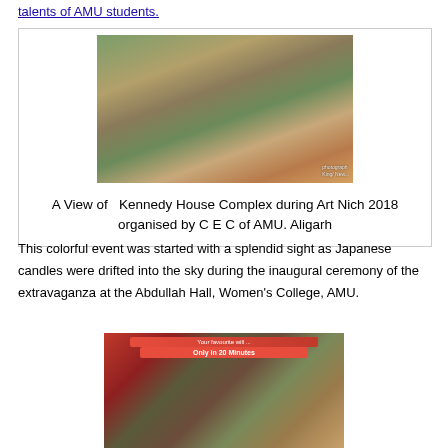talents of AMU students.
[Figure (photo): A view of Kennedy House Complex during Art Nich 2018 organised by C E C of AMU, Aligarh. People walking around outdoor stalls with lights and decorations at dusk.]
A View of  Kennedy House Complex during Art Nich 2018 organised by C E C of AMU. Aligarh
This colorful event was started with a splendid sight as Japanese candles were drifted into the sky during the inaugural ceremony of the extravaganza at the Abdullah Hall, Women's College, AMU.
[Figure (photo): People standing in front of stalls at Art Nich 2018 event. A banner reading 'Your favourite' and 'Only in 20 Minutes' is visible in the background.]